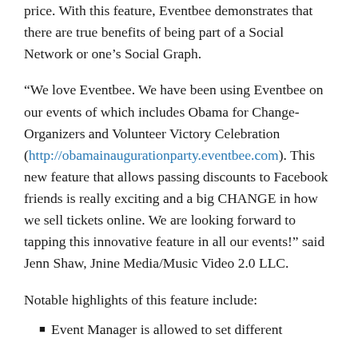price. With this feature, Eventbee demonstrates that there are true benefits of being part of a Social Network or one’s Social Graph.
“We love Eventbee. We have been using Eventbee on our events of which includes Obama for Change-Organizers and Volunteer Victory Celebration (http://obamainaugurationparty.eventbee.com). This new feature that allows passing discounts to Facebook friends is really exciting and a big CHANGE in how we sell tickets online. We are looking forward to tapping this innovative feature in all our events!” said Jenn Shaw, Jnine Media/Music Video 2.0 LLC.
Notable highlights of this feature include:
Event Manager is allowed to set different